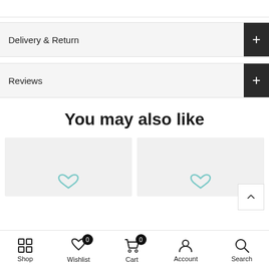Delivery & Return
Reviews
You may also like
[Figure (screenshot): Two product placeholder cards with heart/wishlist icons]
Shop  Wishlist 0  Cart 0  Account  Search